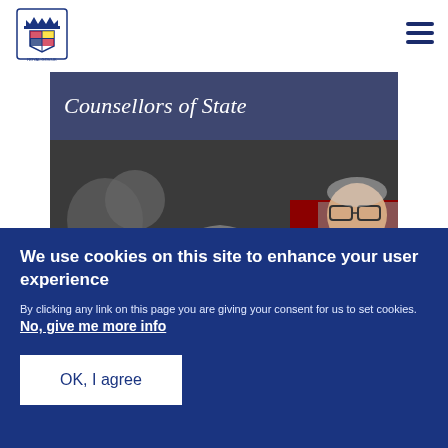[Figure (logo): UK Royal Coat of Arms logo in blue]
Counsellors of State
[Figure (photo): Photo of the Queen wearing a grey hat alongside a man in red ceremonial robes with glasses]
We use cookies on this site to enhance your user experience
By clicking any link on this page you are giving your consent for us to set cookies. No, give me more info
OK, I agree